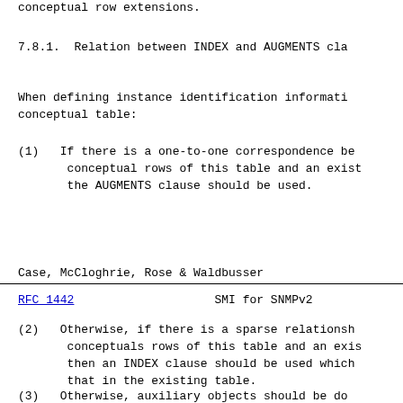conceptual row extensions.
7.8.1.  Relation between INDEX and AUGMENTS cla
When defining instance identification informati conceptual table:
(1)  If there is a one-to-one correspondence be conceptual rows of this table and an exist the AUGMENTS clause should be used.
Case, McCloghrie, Rose & Waldbusser
RFC 1442                    SMI for SNMPv2
(2)  Otherwise, if there is a sparse relationsh conceptuals rows of this table and an exis then an INDEX clause should be used which that in the existing table.
(3)  Otherwise, auxiliary objects should be do